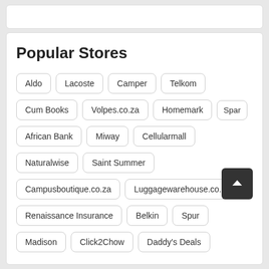Popular Stores
Aldo
Lacoste
Camper
Telkom
Cum Books
Volpes.co.za
Homemark
Spar
African Bank
Miway
Cellularmall
Naturalwise
Saint Summer
Campusboutique.co.za
Luggagewarehouse.co.za
Renaissance Insurance
Belkin
Spur
Madison
Click2Chow
Daddy's Deals